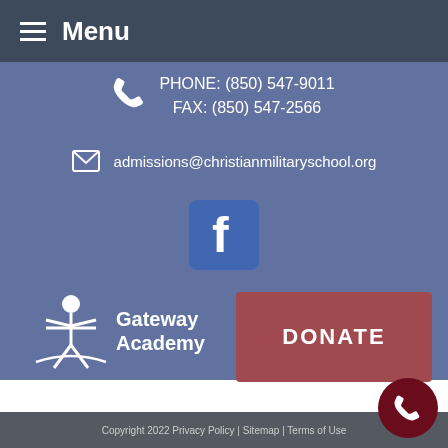Menu
PHONE: (850) 547-9011
FAX: (850) 547-2566
admissions@christianmilitaryschool.org
[Figure (logo): Facebook logo icon - blue square with white 'f' letter]
[Figure (logo): Gateway Academy logo with star/person icon and text 'Gateway Academy']
DONATE
We are a 501c(3) charitable nonprofit organization. Gifts are tax-deductible as allowed by law. Charitable Name and Address: Teen Challenge Southeast • 15 W 10th St • Columbus, GA 31901. Charity License #85-8012640325C-4
Copyright 2022 Privacy Policy | Sitemap | Terms of Use